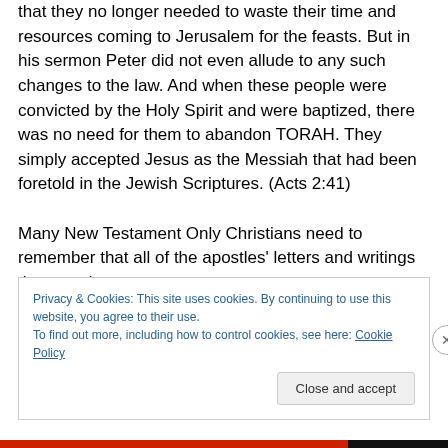been a great time for Peter to explain to all those people that they no longer needed to waste their time and resources coming to Jerusalem for the feasts. But in his sermon Peter did not even allude to any such changes to the law. And when these people were convicted by the Holy Spirit and were baptized, there was no need for them to abandon TORAH. They simply accepted Jesus as the Messiah that had been foretold in the Jewish Scriptures. (Acts 2:41)

Many New Testament Only Christians need to remember that all of the apostles' letters and writings that mention
Privacy & Cookies: This site uses cookies. By continuing to use this website, you agree to their use.
To find out more, including how to control cookies, see here: Cookie Policy